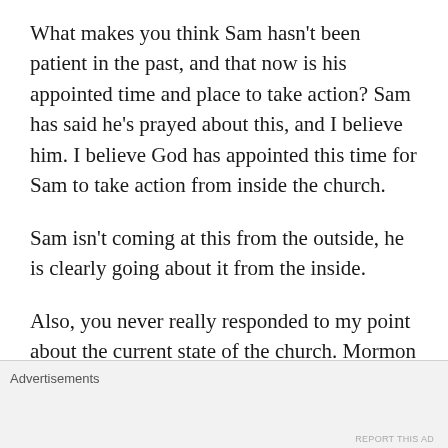What makes you think Sam hasn't been patient in the past, and that now is his appointed time and place to take action? Sam has said he's prayed about this, and I believe him. I believe God has appointed this time for Sam to take action from inside the church.
Sam isn't coming at this from the outside, he is clearly going about it from the inside.
Also, you never really responded to my point about the current state of the church. Mormon 8 perfectly describes the LDS church today. Moroni is clearly speaking to those people who read and and can hear his words. You should
Advertisements